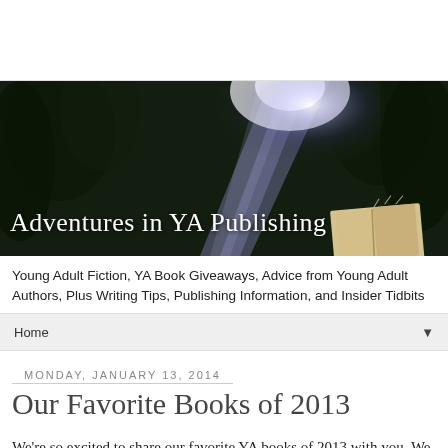Adventures in YA Publishing
Young Adult Fiction, YA Book Giveaways, Advice from Young Adult Authors, Plus Writing Tips, Publishing Information, and Insider Tidbits
Home
Monday, January 13, 2014
Our Favorite Books of 2013
We're so excited to share our favorite YA books of 2013 with you. We were supposed to list our favorite books that came out in 2013, but you know what? We cheated. That's just